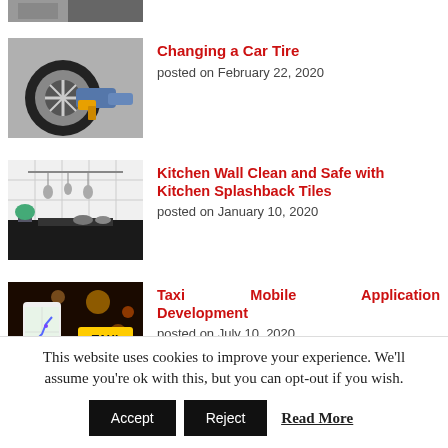[Figure (photo): Partial image of a car or vehicle at the very top of the page, cropped]
[Figure (photo): Person changing a car tire with a power tool]
Changing a Car Tire
posted on February 22, 2020
[Figure (photo): White kitchen interior with splashback tiles, pots hanging on wall]
Kitchen Wall Clean and Safe with Kitchen Splashback Tiles
posted on January 10, 2020
[Figure (photo): Taxi cab with mobile phone showing map application at night]
Taxi Mobile Application Development
posted on July 10, 2020
This website uses cookies to improve your experience. We'll assume you're ok with this, but you can opt-out if you wish.
Accept  Reject  Read More